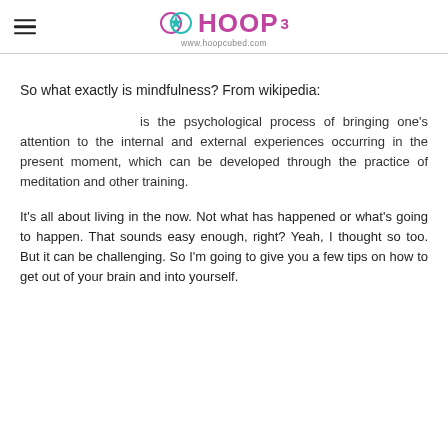HOOP³ www.hoopcubed.com
So what exactly is mindfulness? From wikipedia:
is the psychological process of bringing one's attention to the internal and external experiences occurring in the present moment, which can be developed through the practice of meditation and other training.
It's all about living in the now. Not what has happened or what's going to happen. That sounds easy enough, right? Yeah, I thought so too. But it can be challenging. So I'm going to give you a few tips on how to get out of your brain and into yourself.